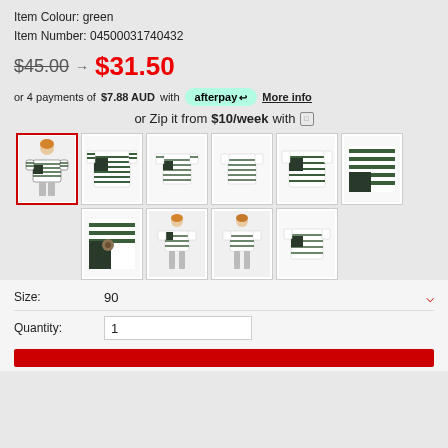Item Colour: green
Item Number: 04500031740432
$45.00 → $31.50
or 4 payments of $7.88 AUD with afterpay More info
or Zip it from $10/week with
[Figure (photo): Product thumbnail images of a children's striped t-shirt in green, showing multiple views including front with child model, flat lays, and detail shots. 10 thumbnails total in two rows.]
Size: 90
Quantity: 1